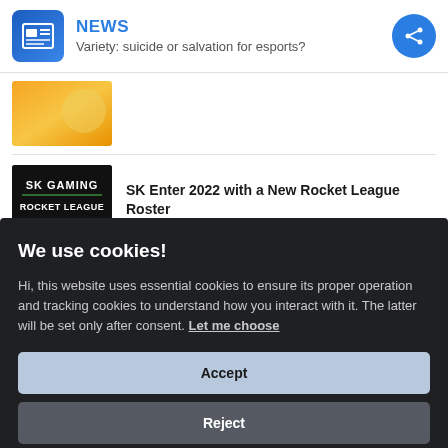NEWS
Variety: suicide or salvation for esports?
[Figure (screenshot): Partially visible orange/yellow game screenshot thumbnail]
[Figure (screenshot): SK Gaming Rocket League black logo thumbnail showing 'SK GAMING ROCKET LEAGUE' text]
SK Enter 2022 with a New Rocket League Roster
We use cookies!
Hi, this website uses essential cookies to ensure its proper operation and tracking cookies to understand how you interact with it. The latter will be set only after consent. Let me choose
Accept
Reject